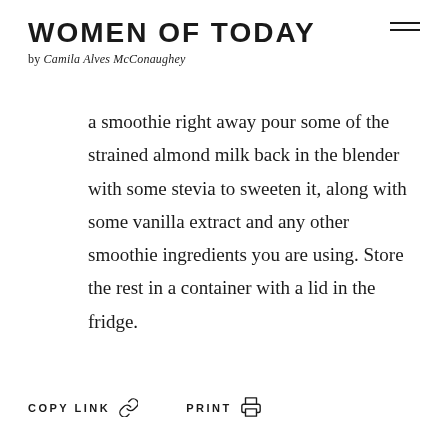WOMEN OF TODAY
by Camila Alves McConaughey
a smoothie right away pour some of the strained almond milk back in the blender with some stevia to sweeten it, along with some vanilla extract and any other smoothie ingredients you are using. Store the rest in a container with a lid in the fridge.
COPY LINK   PRINT